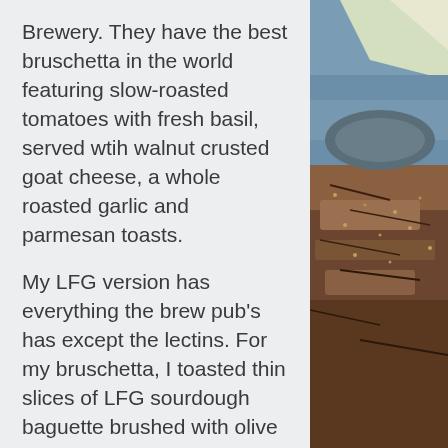Brewery. They have the best bruschetta in the world featuring slow-roasted tomatoes with fresh basil, served wtih walnut crusted goat cheese, a whole roasted garlic and parmesan toasts.
My LFG version has everything the brew pub's has except the lectins. For my bruschetta, I toasted thin slices of LFG sourdough baguette brushed with olive oil. I also roasted a whole garlic bulb and roma tomatoes with the peels and seeds removed.  Finally, I coated the chèvre in almond flour and crushed walnuts and seared it in a hot pan until it was melty and gooey. Read on for the full recipe.
[Figure (photo): Close-up photo of bread/baguette with a rough, seeded crust, alongside light-colored items at the top (possibly paper or cheese) and a blue-toned background, set against a dark baked bread surface.]